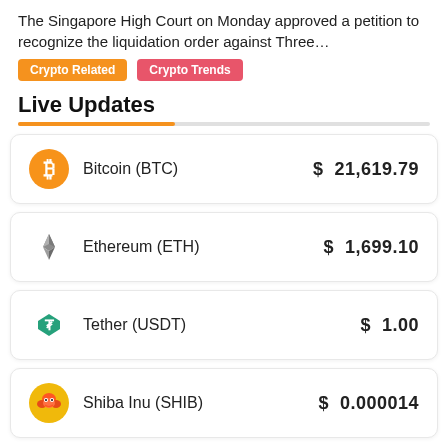The Singapore High Court on Monday approved a petition to recognize the liquidation order against Three…
Crypto Related
Crypto Trends
Live Updates
| Cryptocurrency | Price |
| --- | --- |
| Bitcoin (BTC) | $ 21,619.79 |
| Ethereum (ETH) | $ 1,699.10 |
| Tether (USDT) | $ 1.00 |
| Shiba Inu (SHIB) | $ 0.000014 |